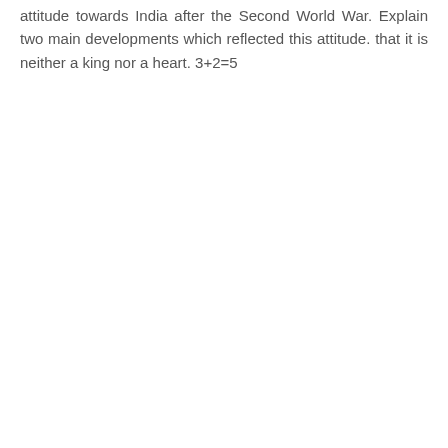attitude towards India after the Second World War. Explain two main developments which reflected this attitude. that it is neither a king nor a heart. 3+2=5